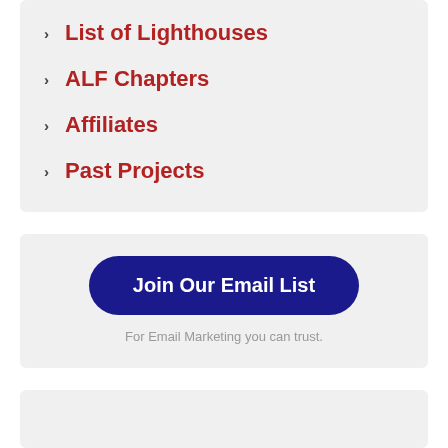List of Lighthouses
ALF Chapters
Affiliates
Past Projects
[Figure (other): Button: Join Our Email List]
For Email Marketing you can trust.